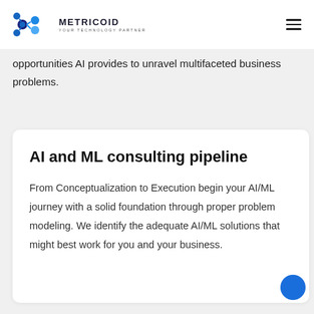METRICOID YOUR TECHNOLOGY PARTNER
opportunities AI provides to unravel multifaceted business problems.
AI and ML consulting pipeline
From Conceptualization to Execution begin your AI/ML journey with a solid foundation through proper problem modeling. We identify the adequate AI/ML solutions that might best work for you and your business.